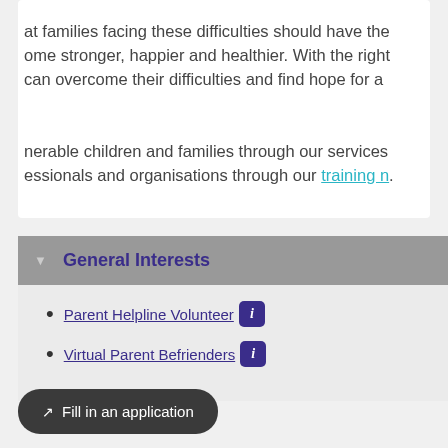at families facing these difficulties should have the ome stronger, happier and healthier. With the right can overcome their difficulties and find hope for a

nerable children and families through our services essionals and organisations through our training n.
General Interests
Parent Helpline Volunteer
Virtual Parent Befrienders
Fill in an application